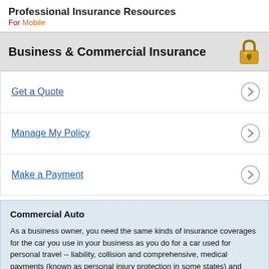Professional Insurance Resources
For Mobile
Business & Commercial Insurance
Get a Quote
Manage My Policy
Make a Payment
Commercial Auto
As a business owner, you need the same kinds of insurance coverages for the car you use in your business as you do for a car used for personal travel -- liability, collision and comprehensive, medical payments (known as personal injury protection in some states) and coverage for uninsured motorists. In fact, many business people use the same vehicle for both business and pleasure. If the vehicle is owned by the business, make sure the name of the business appears on the policy as the "principal insured" rather than your name. This will avoid possible confusion in the event that you need to file a claim or a claim is filed against you.